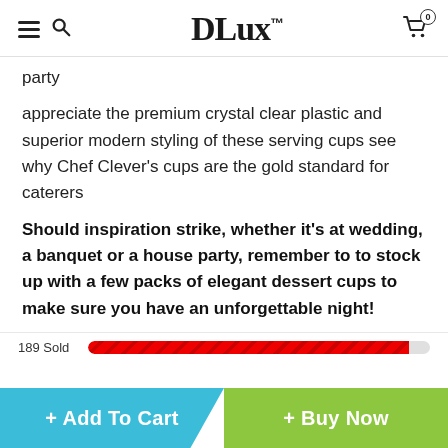DLux™
party
appreciate the premium crystal clear plastic and superior modern styling of these serving cups see why Chef Clever's cups are the gold standard for caterers
Should inspiration strike, whether it's at wedding, a banquet or a house party, remember to to stock up with a few packs of elegant dessert cups to make sure you have an unforgettable night!
189 Sold
+ Add To Cart
+ Buy Now